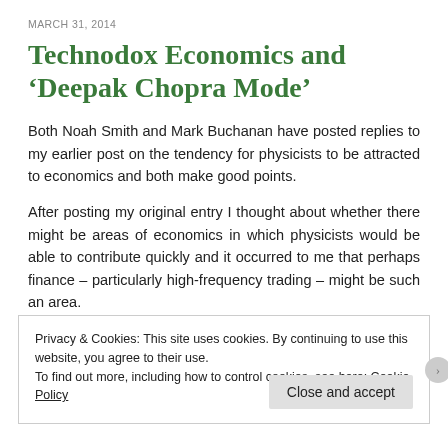MARCH 31, 2014
Technodox Economics and ‘Deepak Chopra Mode’
Both Noah Smith and Mark Buchanan have posted replies to my earlier post on the tendency for physicists to be attracted to economics and both make good points.
After posting my original entry I thought about whether there might be areas of economics in which physicists would be able to contribute quickly and it occurred to me that perhaps finance – particularly high-frequency trading – might be such an area.
Privacy & Cookies: This site uses cookies. By continuing to use this website, you agree to their use.
To find out more, including how to control cookies, see here: Cookie Policy